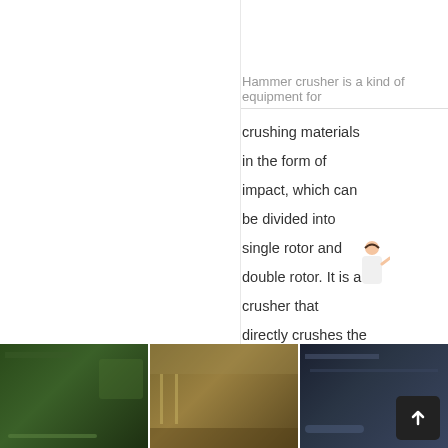Machinery Co., Ltd. CNCrusher
Hammer crusher is a kind of equipment for crushing materials in the form of impact, which can be divided into single rotor and double rotor. It is a crusher that directly crushes the material with the maximum particle size of mm to a section below 25 or 25 mm. Hammer crusher is suitable for crushing medium hardness materials such as limestone, slag, coke, coal and other materials in …
GET PRICE ›
[Figure (photo): Three industrial factory/machinery photographs shown as a horizontal strip at the bottom of the page]
[Figure (illustration): Free chat button (blue rounded rectangle) with a person illustration next to it, overlaid on the main text area]